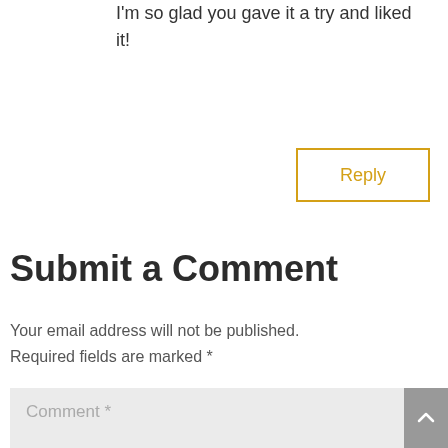I'm so glad you gave it a try and liked it!
Reply
Submit a Comment
Your email address will not be published. Required fields are marked *
Comment *